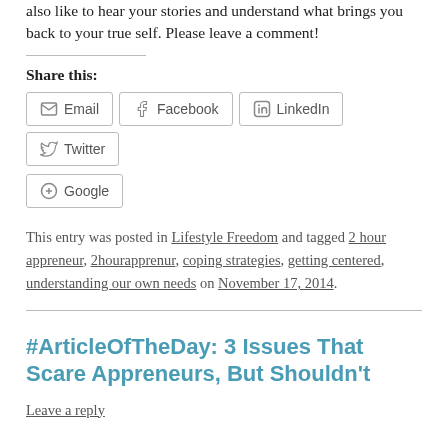also like to hear your stories and understand what brings you back to your true self. Please leave a comment!
Share this:
Email | Facebook | LinkedIn | Twitter | Google
This entry was posted in Lifestyle Freedom and tagged 2 hour appreneur, 2hourapprenur, coping strategies, getting centered, understanding our own needs on November 17, 2014.
#ArticleOfTheDay: 3 Issues That Scare Appreneurs, But Shouldn't
Leave a reply